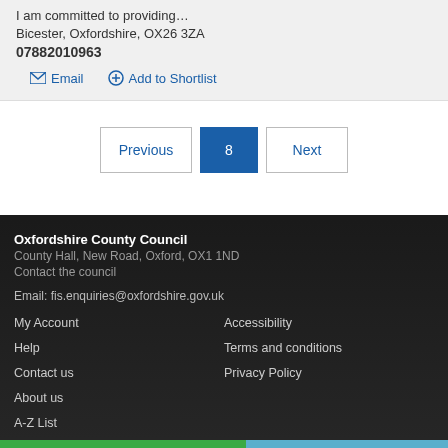I am committed to providing…
Bicester, Oxfordshire, OX26 3ZA
07882010963
Email  Add to Shortlist
Previous  8  Next
Oxfordshire County Council
County Hall, New Road, Oxford, OX1 1ND
Contact the council
Email: fis.enquiries@oxfordshire.gov.uk
My Account  Accessibility
Help  Terms and conditions
Contact us  Privacy Policy
About us
A-Z List
Site feedback  top